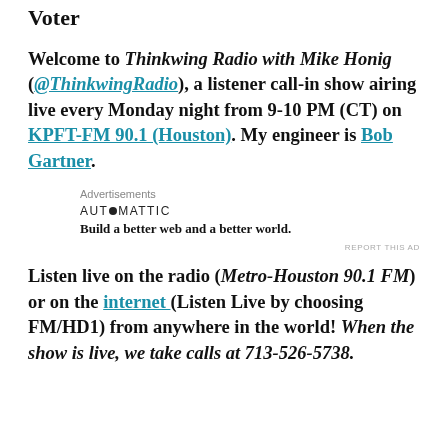Voter
Welcome to Thinkwing Radio with Mike Honig (@ThinkwingRadio), a listener call-in show airing live every Monday night from 9-10 PM (CT) on KPFT-FM 90.1 (Houston). My engineer is Bob Gartner.
[Figure (other): Automattic advertisement: 'Build a better web and a better world.']
Listen live on the radio (Metro-Houston 90.1 FM) or on the internet (Listen Live by choosing FM/HD1) from anywhere in the world! When the show is live, we take calls at 713-526-5738.